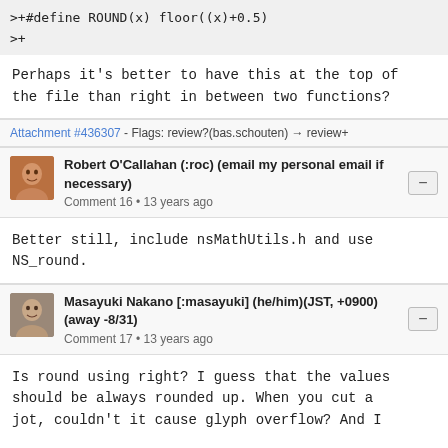>+#define ROUND(x) floor((x)+0.5)
>+
Perhaps it's better to have this at the top of the file than right in between two functions?
Attachment #436307 - Flags: review?(bas.schouten) → review+
Robert O'Callahan (:roc) (email my personal email if necessary)
Comment 16 • 13 years ago
Better still, include nsMathUtils.h and use NS_round.
Masayuki Nakano [:masayuki] (he/him)(JST, +0900)(away -8/31)
Comment 17 • 13 years ago
Is round using right? I guess that the values should be always rounded up. When you cut a jot, couldn't it cause glyph overflow? And I